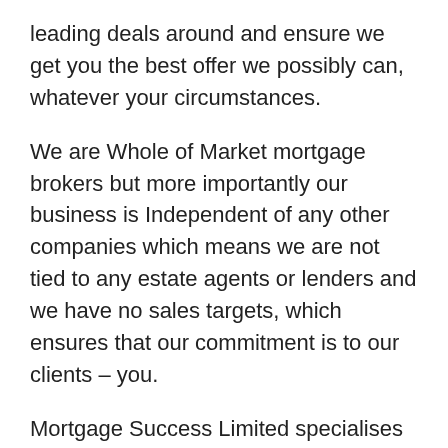leading deals around and ensure we get you the best offer we possibly can, whatever your circumstances.
We are Whole of Market mortgage brokers but more importantly our business is Independent of any other companies which means we are not tied to any estate agents or lenders and we have no sales targets, which ensures that our commitment is to our clients – you.
Mortgage Success Limited specialises in helping people such as First time buyers and those with bad credit or adverse situations to obtain mortgages. We are able to conduct face to face appointments with our Brokers in Manchester and